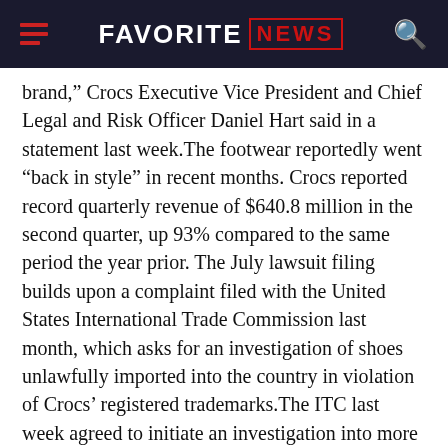FAVORITE NEWS
brand,” Crocs Executive Vice President and Chief Legal and Risk Officer Daniel Hart said in a statement last week.The footwear reportedly went “back in style” in recent months. Crocs reported record quarterly revenue of $640.8 million in the second quarter, up 93% compared to the same period the year prior. The July lawsuit filing builds upon a complaint filed with the United States International Trade Commission last month, which asks for an investigation of shoes unlawfully imported into the country in violation of Crocs’ registered trademarks.The ITC last week agreed to initiate an investigation into more than 20 companies that are selling products that inference with the company’s trademarks. “We pride ourselves in